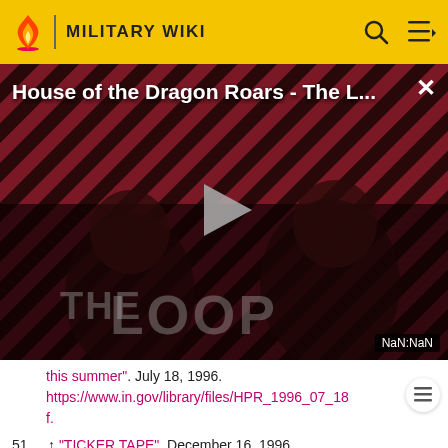MILITARY WIKI
[Figure (screenshot): Video player thumbnail showing 'House of the Dragon Roars - The L...' with a dark dramatic image, THE LOOP logo, a play button in the center, and NaN:NaN timestamp in the bottom right corner. A close (×) button is in the top right.]
this summer". July 18, 1996. https://www.in.gov/library/files/HPR_1996_07_18 f.
51. ↑ "TICKER TAPE". December 16, 1996. https://www.in.gov/library/files/HPR_1996_12_16.pdf